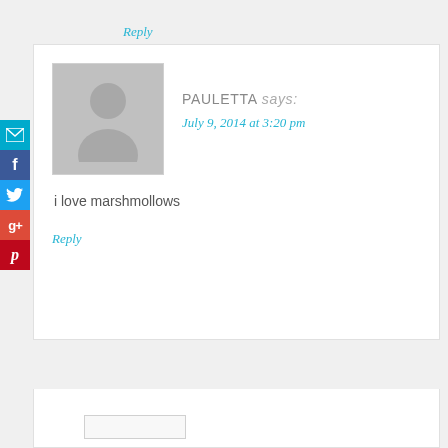Reply
[Figure (illustration): Social media share sidebar with email, Facebook, Twitter, Google+, and Pinterest buttons]
PAULETTA says:
July 9, 2014 at 3:20 pm
[Figure (photo): Default user avatar placeholder - grey silhouette of a person]
i love marshmollows
Reply